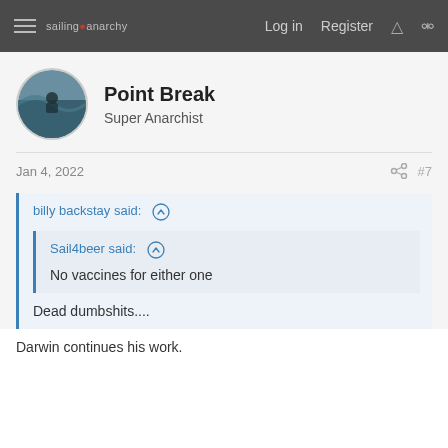sailing anarchy | Log in | Register
Point Break
Super Anarchist
Jan 4, 2022  #7
billy backstay said: ↑

Sail4beer said: ↑

No vaccines for either one

Dead dumbshits....
Darwin continues his work.